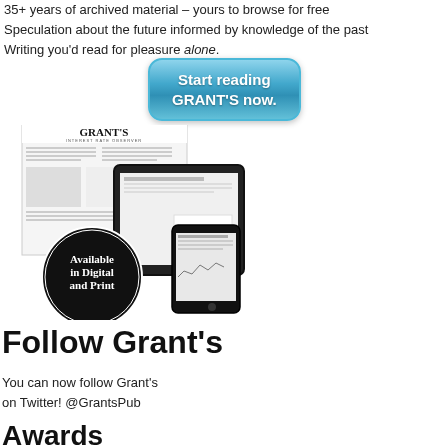35+ years of archived material – yours to browse for free
Speculation about the future informed by knowledge of the past
Writing you'd read for pleasure alone.
[Figure (illustration): A teal rounded rectangle button with white bold text reading 'Start reading GRANT'S now.']
[Figure (illustration): Image of Grant's Interest Rate Observer newsletter in print form alongside tablet and smartphone showing digital versions. A black circular badge reads 'Available in Digital and Print']
Follow Grant's
You can now follow Grant's
on Twitter! @GrantsPub
Awards